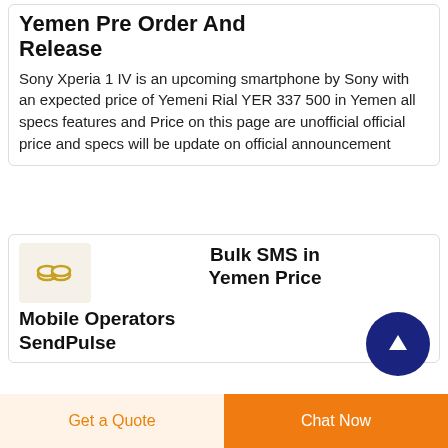Yemen Pre Order And Release
Sony Xperia 1 IV is an upcoming smartphone by Sony with an expected price of Yemeni Rial YER 337 500 in Yemen all specs features and Price on this page are unofficial official price and specs will be update on official announcement
[Figure (illustration): Small thumbnail image showing two rings, likely representing SMS/communication branding for SendPulse]
Bulk SMS in Yemen Price Mobile Operators SendPulse
Get a Quote
Chat Now